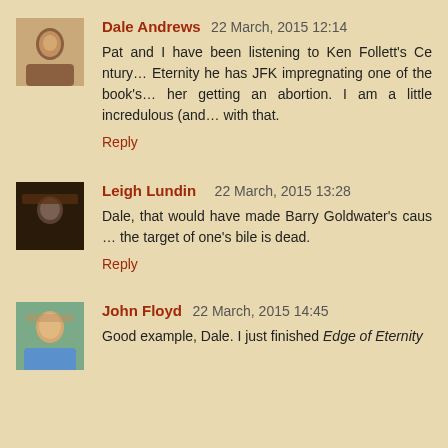Dale Andrews 22 March, 2015 12:14
Pat and I have been listening to Ken Follett's Ce... Eternity he has JFK impregnating one of the book's... her getting an abortion. I am a little incredulous (an... with that.
Reply
Leigh Lundin 22 March, 2015 13:28
Dale, that would have made Barry Goldwater's caus... the target of one's bile is dead.
Reply
John Floyd 22 March, 2015 14:45
Good example, Dale. I just finished Edge of Eternity